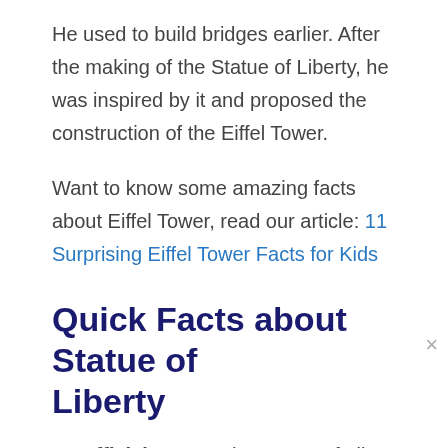He used to build bridges earlier. After the making of the Statue of Liberty, he was inspired by it and proposed the construction of the Eiffel Tower.
Want to know some amazing facts about Eiffel Tower, read our article: 11 Surprising Eiffel Tower Facts for Kids
Quick Facts about Statue of Liberty
Official Name: The Statue of Liberty Enlightening the World